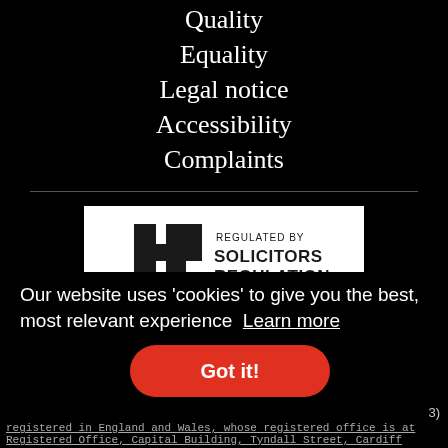Quality
Equality
Legal notice
Accessibility
Complaints
[Figure (logo): Regulated by Solicitors Regulation Authority logo — white box with black SRA arrow/bar icon and text 'REGULATED BY SOLICITORS REGULATION']
Our website uses ‘cookies’ to give you the best, most relevant experience  Learn more
Got it!
3)
registered in England and Wales, whose registered office is at
Registered Office, Capital Building, Tyndall Street, Cardiff